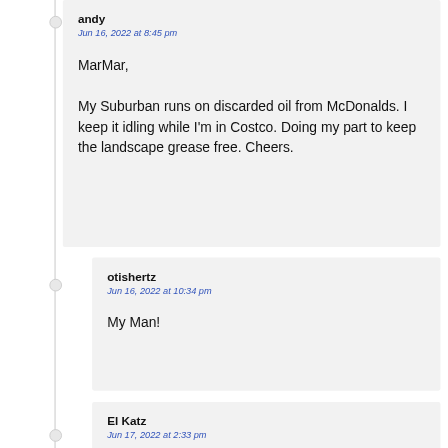andy
Jun 16, 2022 at 8:45 pm
MarMar,

My Suburban runs on discarded oil from McDonalds. I keep it idling while I'm in Costco. Doing my part to keep the landscape grease free. Cheers.
otishertz
Jun 16, 2022 at 10:34 pm
My Man!
El Katz
Jun 17, 2022 at 2:33 pm